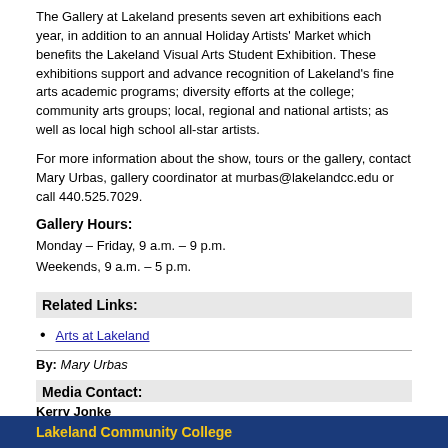The Gallery at Lakeland presents seven art exhibitions each year, in addition to an annual Holiday Artists' Market which benefits the Lakeland Visual Arts Student Exhibition. These exhibitions support and advance recognition of Lakeland's fine arts academic programs; diversity efforts at the college; community arts groups; local, regional and national artists; as well as local high school all-star artists.
For more information about the show, tours or the gallery, contact Mary Urbas, gallery coordinator at murbas@lakelandcc.edu or call 440.525.7029.
Gallery Hours:
Monday – Friday, 9 a.m. – 9 p.m.
Weekends, 9 a.m. – 5 p.m.
Related Links:
Arts at Lakeland
By: Mary Urbas
Media Contact:
Kerry Jonke
kjonke4@lakelandcc.edu
440.525.7278
Lakeland Community College